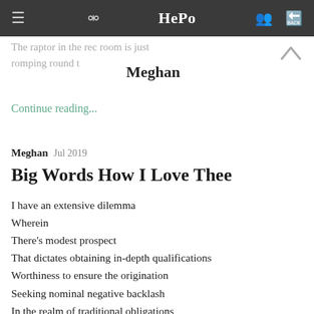HePo
The raptor in the rec room is just romping round t…
Meghan
Continue reading...
Meghan  Jul 2019
Big Words How I Love Thee
I have an extensive dilemma
Wherein
There's modest prospect
That dictates obtaining in-depth qualifications
Worthiness to ensure the origination
Seeking nominal negative backlash
In the realm of traditional obligations
Continue reading...